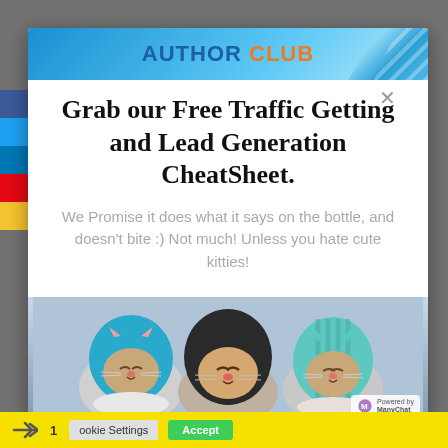[Figure (screenshot): Author Club logo banner with blue gradient background and diagonal stripe pattern]
Grab our Free Traffic Getting and Lead Generation CheatSheet.
We Promise it does what it says on the bottle, and doesn't bite :) Not much! Unless you hate cute kitties!
[Figure (photo): Three cats wearing knitted hats/hoods - one in blue, one in black, one in teal striped]
Cookie Settings   Accept   1